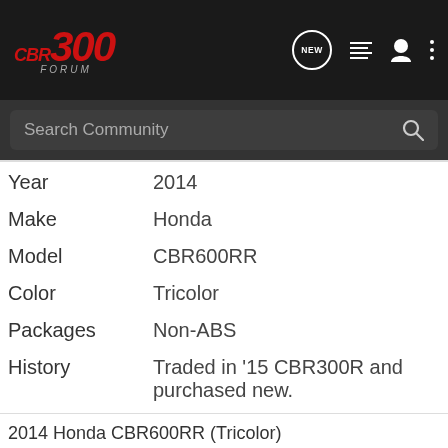CBR300 FORUM
| Field | Value |
| --- | --- |
| Year | 2014 |
| Make | Honda |
| Model | CBR600RR |
| Color | Tricolor |
| Packages | Non-ABS |
| History | Traded in '15 CBR300R and purchased new. |
2014 Honda CBR600RR (Tricolor)